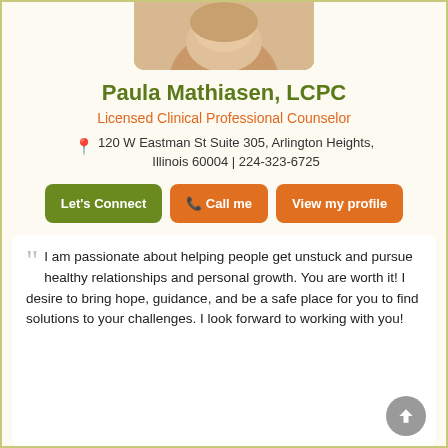[Figure (photo): Profile photo of Paula Mathiasen, a woman with blonde hair, cropped at top of page]
Paula Mathiasen, LCPC
Licensed Clinical Professional Counselor
120 W Eastman St Suite 305, Arlington Heights, Illinois 60004 | 224-323-6725
I am passionate about helping people get unstuck and pursue healthy relationships and personal growth. You are worth it! I desire to bring hope, guidance, and be a safe place for you to find solutions to your challenges. I look forward to working with you!